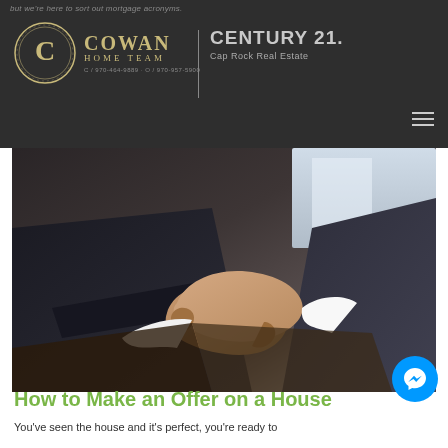but we're here to sort out mortgage acronyms.
[Figure (logo): Cowan Home Team logo with circular C emblem and Century 21 Cap Rock Real Estate wordmark on dark background]
[Figure (photo): Two people in business suits shaking hands, close-up photograph]
How to Make an Offer on a House
You've seen the house and it's perfect, you're ready to